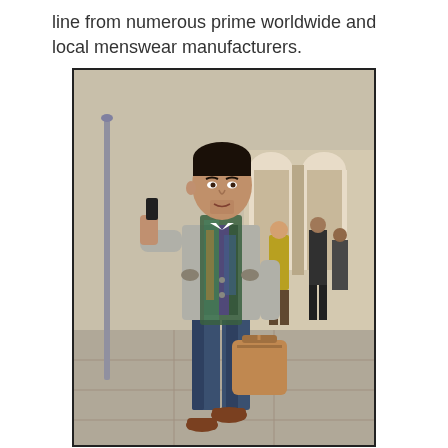line from numerous prime worldwide and local menswear manufacturers.
[Figure (photo): A stylishly dressed man walking outdoors, talking on a mobile phone. He wears a grey blazer with elbow patches, a colorful patterned scarf, dark jeans, brown leather oxford shoes, and carries a tan leather bag. The background shows an outdoor arcade or courtyard with arched columns and other people.]